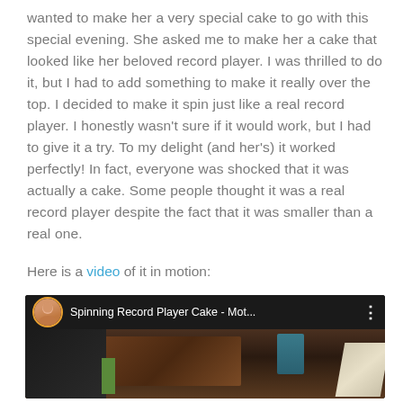wanted to make her a very special cake to go with this special evening. She asked me to make her a cake that looked like her beloved record player. I was thrilled to do it, but I had to add something to make it really over the top. I decided to make it spin just like a real record player. I honestly wasn't sure if it would work, but I had to give it a try. To my delight (and her's) it worked perfectly! In fact, everyone was shocked that it was actually a cake. Some people thought it was a real record player despite the fact that it was smaller than a real one.
Here is a video of it in motion:
[Figure (screenshot): YouTube video thumbnail showing 'Spinning Record Player Cake - Mot...' with a circular avatar of a woman on the left, video title text, and a three-dot menu icon. The thumbnail shows a dark brown wooden table scene.]